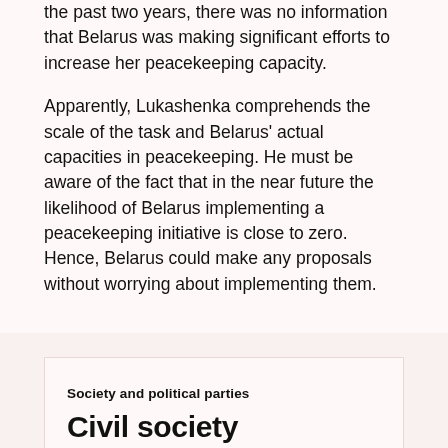the past two years, there was no information that Belarus was making significant efforts to increase her peacekeeping capacity.
Apparently, Lukashenka comprehends the scale of the task and Belarus' actual capacities in peacekeeping. He must be aware of the fact that in the near future the likelihood of Belarus implementing a peacekeeping initiative is close to zero. Hence, Belarus could make any proposals without worrying about implementing them.
Society and political parties
Civil society organisations focused on